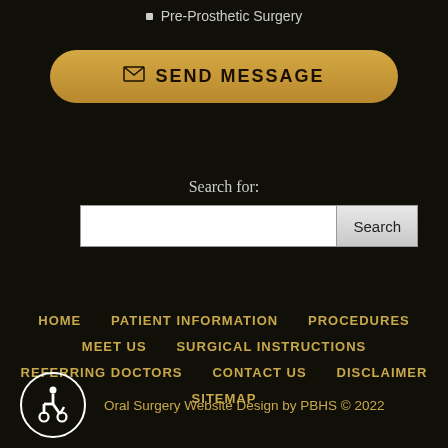Pre-Prosthetic Surgery
SEND MESSAGE
Search for:
HOME  PATIENT INFORMATION  PROCEDURES  MEET US  SURGICAL INSTRUCTIONS  REFERRING DOCTORS  CONTACT US  DISCLAIMER  SITEMAP
Oral Surgery Website Design by PBHS © 2022